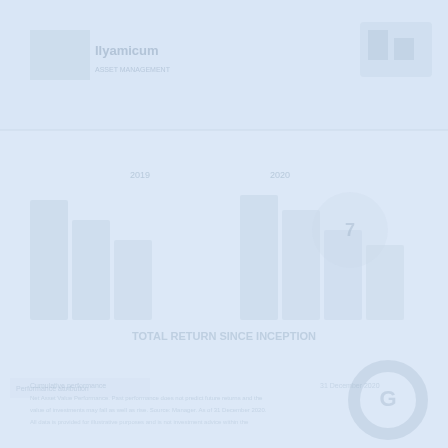[Figure (other): Faded/watermarked financial document page with light blue background, showing ghosted text and chart elements including bar charts, numbers, and a logo area at top left, with a circular logo watermark at bottom right. Content is largely illegible due to heavy fading.]